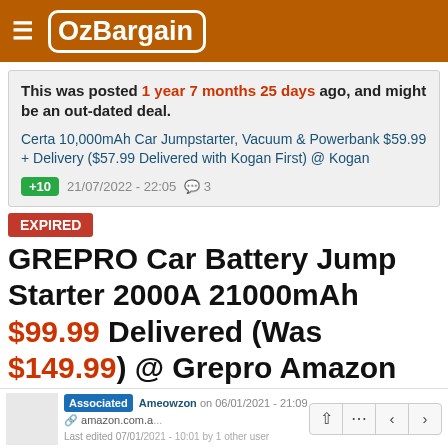≡ OzBargain
This was posted 1 year 7 months 25 days ago, and might be an out-dated deal.
Certa 10,000mAh Car Jumpstarter, Vacuum & Powerbank $59.99 + Delivery ($57.99 Delivered with Kogan First) @ Kogan
+10  21/07/2022 - 22:05  💬 3
EXPIRED
GREPRO Car Battery Jump Starter 2000A 21000mAh $99.99 Delivered (Was $149.99) @ Grepro Amazon AU
Associated Ameowzon on 06/01/2021 - 21:09
amazon.com.a...
Last edited 07/01/2021 - 10:01 by 1 other user